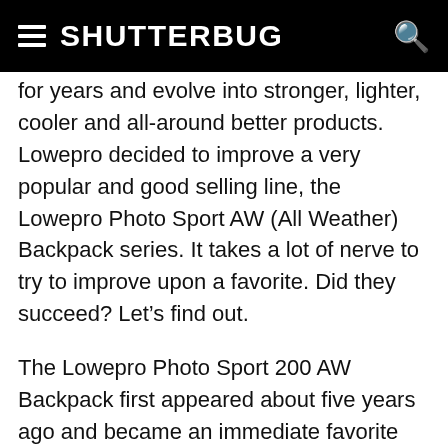SHUTTERBUG
for years and evolve into stronger, lighter, cooler and all-around better products. Lowepro decided to improve a very popular and good selling line, the Lowepro Photo Sport AW (All Weather) Backpack series. It takes a lot of nerve to try to improve upon a favorite. Did they succeed? Let’s find out.
The Lowepro Photo Sport 200 AW Backpack first appeared about five years ago and became an immediate favorite with folks who mix their photography with vigorous activities like cycling, climbing, hiking and running. The pack was light, provided separate spaces for camera equipment and less essential things like food and clothing. It